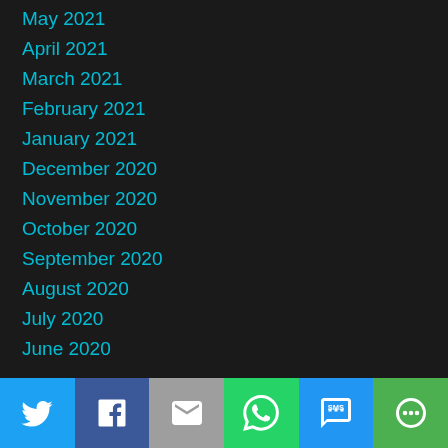May 2021
April 2021
March 2021
February 2021
January 2021
December 2020
November 2020
October 2020
September 2020
August 2020
July 2020
June 2020
[Figure (infographic): Social sharing bar with Twitter, Facebook, Email, WhatsApp, SMS, and More buttons]